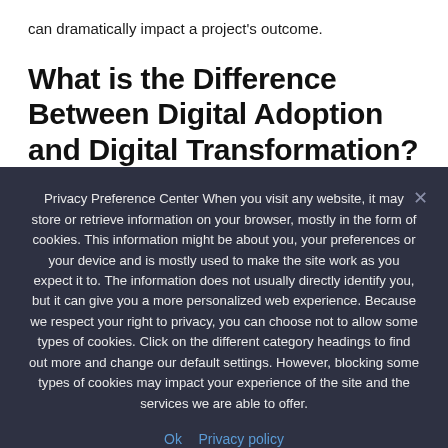can dramatically impact a project's outcome.
What is the Difference Between Digital Adoption and Digital Transformation?
Privacy Preference Center When you visit any website, it may store or retrieve information on your browser, mostly in the form of cookies. This information might be about you, your preferences or your device and is mostly used to make the site work as you expect it to. The information does not usually directly identify you, but it can give you a more personalized web experience. Because we respect your right to privacy, you can choose not to allow some types of cookies. Click on the different category headings to find out more and change our default settings. However, blocking some types of cookies may impact your experience of the site and the services we are able to offer.
Ok  Privacy policy